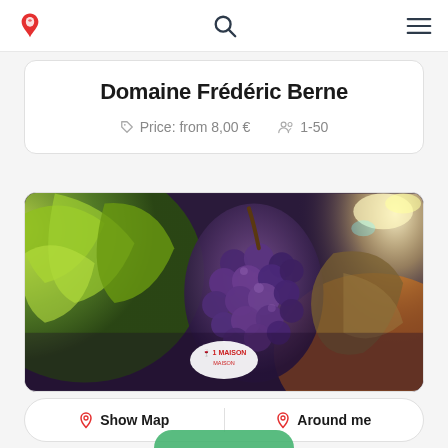Navigation bar with logo, search, and menu icons
Domaine Frédéric Berne
Price: from 8,00 €   1-50
[Figure (photo): Close-up photo of a bunch of dark purple grapes on a vine with green leaves, backlit by warm sunlight. A circular logo badge partially visible at the bottom center reads '1 MAISON'.]
Show Map   Around me